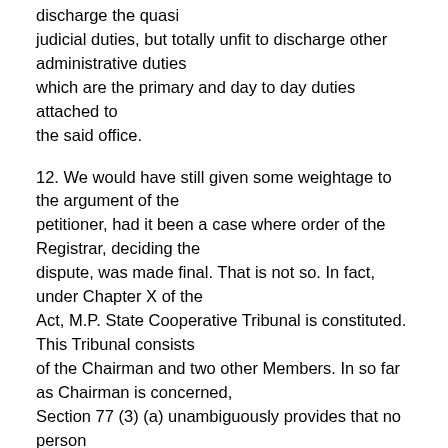discharge the quasi judicial duties, but totally unfit to discharge other administrative duties which are the primary and day to day duties attached to the said office.
12. We would have still given some weightage to the argument of the petitioner, had it been a case where order of the Registrar, deciding the dispute, was made final. That is not so. In fact, under Chapter X of the Act, M.P. State Cooperative Tribunal is constituted. This Tribunal consists of the Chairman and two other Members. In so far as Chairman is concerned, Section 77 (3) (a) unambiguously provides that no person